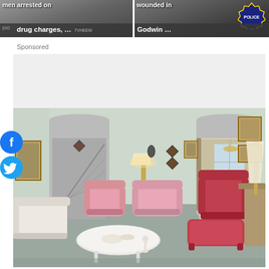[Figure (photo): News thumbnail: man arrested on drug charges - dark overlay with text]
[Figure (photo): News thumbnail: wounded in Godwin - police badge visible]
Sponsored
[Figure (photo): Sponsored real estate listing photo showing a vintage living room with pink and red upholstered furniture, white sofa, arched doorways, staircase, dining room visible through arch, chandelier, carpet flooring, lamp, coffee table with decor]
[Figure (logo): Facebook social share icon - blue circle with white F]
[Figure (logo): Twitter social share icon - blue circle with white bird]